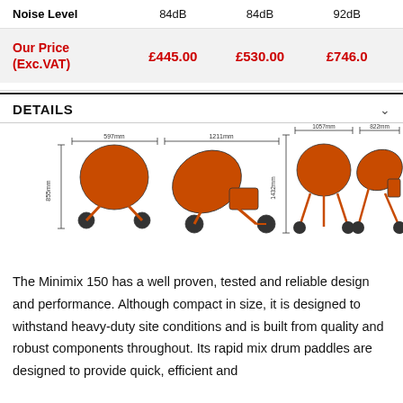|  | Col1 | Col2 | Col3 |
| --- | --- | --- | --- |
| Noise Level | 84dB | 84dB | 92dB |
| Our Price (Exc.VAT) | £445.00 | £530.00 | £746.00 |
DETAILS
[Figure (engineering-diagram): Technical dimension diagrams of four cement mixers (Minimix 150) shown from front and side views with measurements: 597mm width, 855mm height, 1211mm length; and 1057mm width, 1432mm height, 822mm width for larger models.]
The Minimix 150 has a well proven, tested and reliable design and performance. Although compact in size, it is designed to withstand heavy-duty site conditions and is built from quality and robust components throughout. Its rapid mix drum paddles are designed to provide quick, efficient and